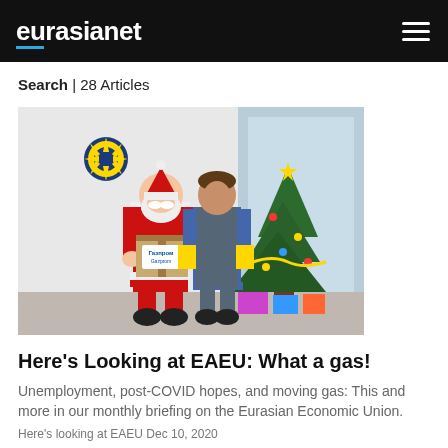eurasianet
Search | 28 Articles
[Figure (photo): A person dressed as Santa Claus holding a Gazprom-branded box, standing next to another person in workwear, with a decorated Christmas tree in the background and a decorative snowflake on the wall.]
Here’s Looking at EAEU: What a gas!
Unemployment, post-COVID hopes, and moving gas: This and more in our monthly briefing on the Eurasian Economic Union.
Here’s looking at EAEU Dec 10, 2020